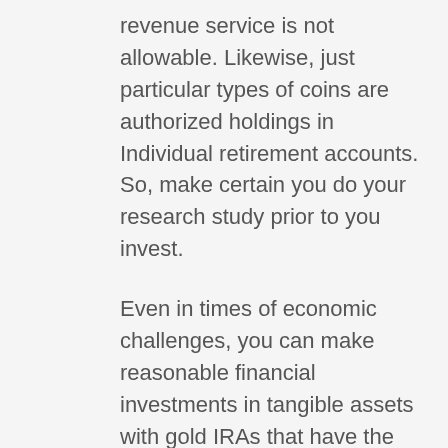revenue service is not allowable. Likewise, just particular types of coins are authorized holdings in Individual retirement accounts. So, make certain you do your research study prior to you invest.
Even in times of economic challenges, you can make reasonable financial investments in tangible assets with gold IRAs that have the possible to construct wealth for your retirement (Investing In Gold Is For Doomsdayers). Gold is often touted as a potential hedge of sorts to stock exchange declines, as the cost of gold usually rises throughout these times.